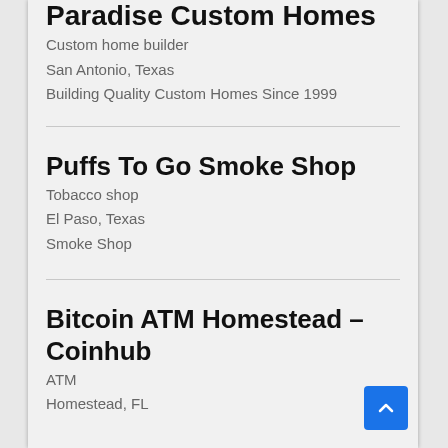Paradise Custom Homes
Custom home builder
San Antonio, Texas
Building Quality Custom Homes Since 1999
Puffs To Go Smoke Shop
Tobacco shop
El Paso, Texas
Smoke Shop
Bitcoin ATM Homestead – Coinhub
ATM
Homestead, FL